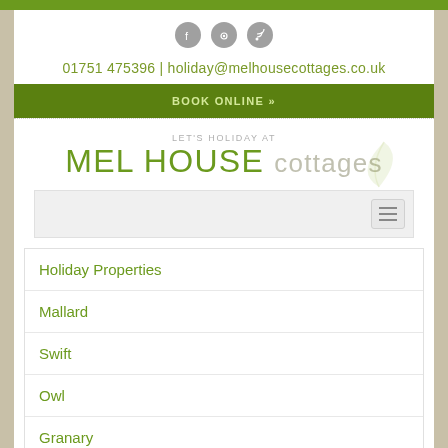[Figure (logo): Social media icons: Facebook, TripAdvisor, RSS]
01751 475396 | holiday@melhousecottages.co.uk
BOOK ONLINE »
[Figure (logo): Mel House Cottages logo with leaf graphic. Text: LET'S HOLIDAY AT MEL HOUSE cottages]
[Figure (screenshot): Navigation bar with hamburger menu button]
Holiday Properties
Mallard
Swift
Owl
Granary